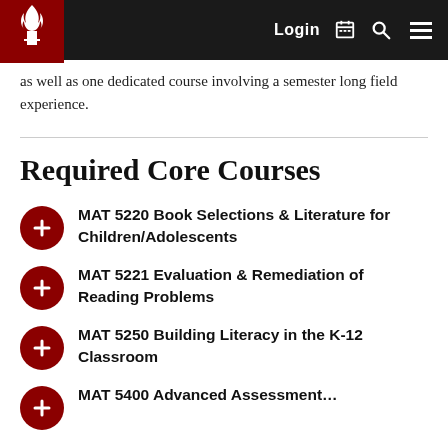Login
as well as one dedicated course involving a semester long field experience.
Required Core Courses
MAT 5220 Book Selections & Literature for Children/Adolescents
MAT 5221 Evaluation & Remediation of Reading Problems
MAT 5250 Building Literacy in the K-12 Classroom
MAT 5400 Advanced Assessment...